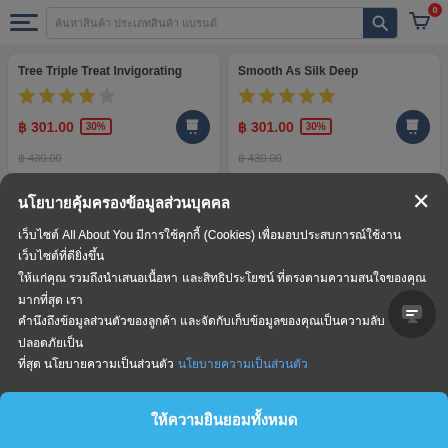ค้นหาสินค้า ประเภทสินค้า แบรนด์
Tree Triple Treat Invigorating
฿ 301.00  30%  ฿ 430.00
Smooth As Silk Deep
฿ 301.00  30%  ฿ 430.00
นโยบายคุ้มครองข้อมูลส่วนบุคคล
เว็บไซต์ All About You มีการใช้คุกกี้ (Cookies) เพื่อมอบประสบการณ์ใช้งานเว็บไซต์ที่ดียิ่งขึ้น ให้แก่คุณ รวมถึงนำเสนอเนื้อหา และสิทธิประโยชน์ ที่ตรงตามความสนใจของคุณมากที่สุด เราคำนึงถึงข้อมูลส่วนตัวของลูกค้า และจัดกับเก็บข้อมูลของคุณเป็นความลับ และปลอดภัยเป็นที่สุด นโยบายความเป็นส่วนตัว นโยบายความเป็นส่วนตัว
ให้ความยินยอมทั้งหมด